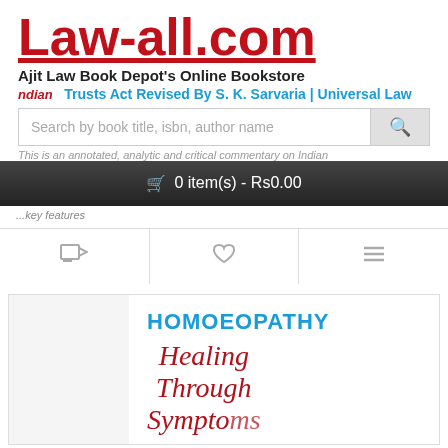Law-all.com
Ajit Law Book Depot's Online Bookstore
Trusts Act Revised By S. K. Sarvaria | Universal Law ... ndian
Search by book title, isbn, author name
0 item(s) - Rs0.00
[Figure (screenshot): Book cover for Homoeopathy Healing Through Symptoms]
HOMOEOPATHY Healing Through Symptoms